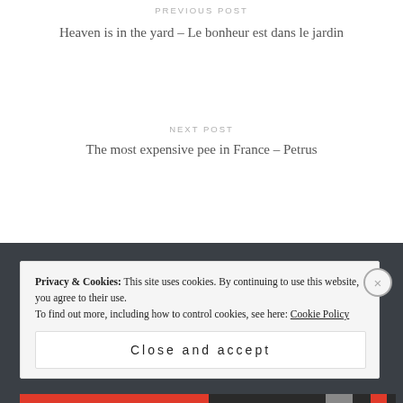PREVIOUS POST
Heaven is in the yard – Le bonheur est dans le jardin
NEXT POST
The most expensive pee in France – Petrus
Privacy & Cookies: This site uses cookies. By continuing to use this website, you agree to their use.
To find out more, including how to control cookies, see here: Cookie Policy
Close and accept